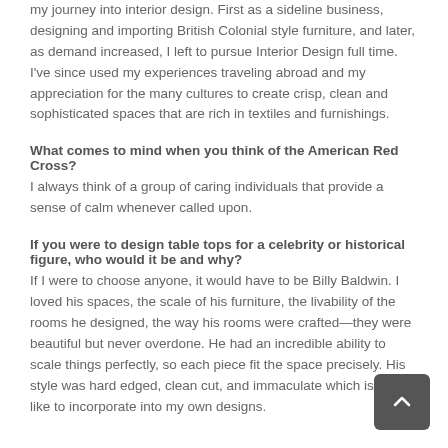point in my career. It was here that I found my true passion in the home furnishing and textile market. Shortly thereafter, I began my journey into interior design. First as a sideline business, designing and importing British Colonial style furniture, and later, as demand increased, I left to pursue Interior Design full time. I've since used my experiences traveling abroad and my appreciation for the many cultures to create crisp, clean and sophisticated spaces that are rich in textiles and furnishings.
What comes to mind when you think of the American Red Cross?
I always think of a group of caring individuals that provide a sense of calm whenever called upon.
If you were to design table tops for a celebrity or historical figure, who would it be and why?
If I were to choose anyone, it would have to be Billy Baldwin. I loved his spaces, the scale of his furniture, the livability of the rooms he designed, the way his rooms were crafted—they were beautiful but never overdone. He had an incredible ability to scale things perfectly, so each piece fit the space precisely. His style was hard edged, clean cut, and immaculate which is what I like to incorporate into my own designs.